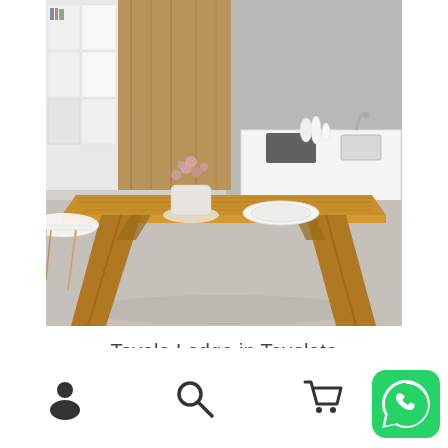[Figure (photo): Modern dining table (Tavolo Lodge in Tavolato) with natural wood plank top and angled wooden legs, placed in a contemporary kitchen/living space with white cabinets, a white Eames-style chair, and a potted plant on the table.]
Tavolo Lodge in Tavolato
IN OFFERTA!
Navigation bar with user icon, search icon, cart icon, and WhatsApp icon